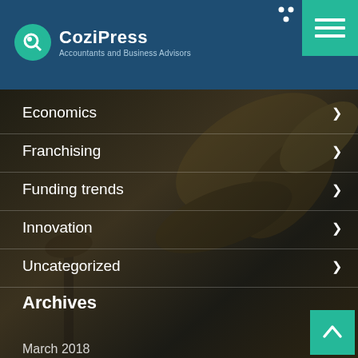CoziPress - Accountants and Business Advisors
Economics
Franchising
Funding trends
Innovation
Uncategorized
Archives
March 2018